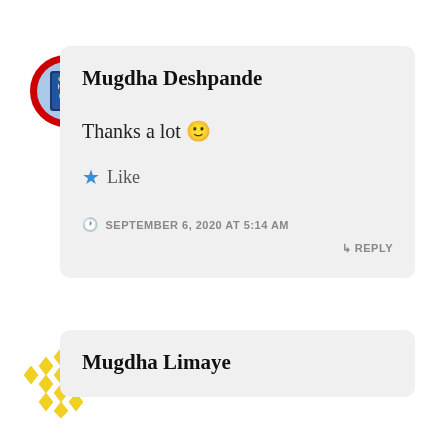[Figure (photo): Circular avatar photo of Mugdha Deshpande with red border, showing a book cover]
Mugdha Deshpande
Thanks a lot 🙂
★ Like
SEPTEMBER 6, 2020 AT 5:14 AM
↳ REPLY
[Figure (logo): Circular yellow diamond pattern logo/avatar for Mugdha Limaye]
Mugdha Limaye